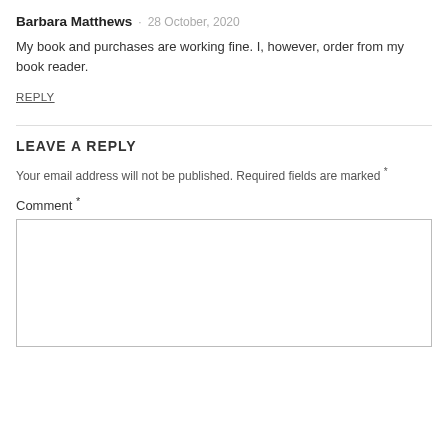Barbara Matthews · 28 October, 2020
My book and purchases are working fine. I, however, order from my book reader.
REPLY
LEAVE A REPLY
Your email address will not be published. Required fields are marked *
Comment *